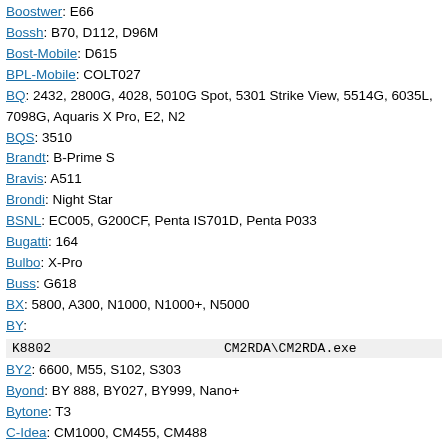Boostwer: E66
Bossh: B70, D112, D96M
Bost-Mobile: D615
BPL-Mobile: COLT027
BQ: 2432, 2800G, 4028, 5010G Spot, 5301 Strike View, 5514G, 6035L, 7098G, Aquaris X Pro, E2, N2
BQS: 3510
Brandt: B-Prime S
Bravis: A511
Brondi: Night Star
BSNL: EC005, G200CF, Penta IS701D, Penta P033
Bugatti: 164
Bulbo: X-Pro
Buss: G618
BX: 5800, A300, N1000, N1000+, N5000
BY:
| K8802 | CM2RDA\CM2RDA.exe |
BY2: 6600, M55, S102, S303
Byond: BY 888, BY027, BY999, Nano+
Bytone: T3
C-Idea: CM1000, CM455, CM488
C-Right: L2000
Cagabi: One
CallMe: C18, C331, C700, E1000, Y854
Calltouch: C468, Tab 706
Calme: C12, C2, C22, C251, C252, C340, C345, C700, C88, CL200, D70, S12, S20, Spark S10, Spark S11, Spark S22, Spark S33, X2-02, X200
Calsen: 7322, D500
Camry: V138
Candi: Blaze
Capitel: P600
Car-Mobile: KU6 BMW